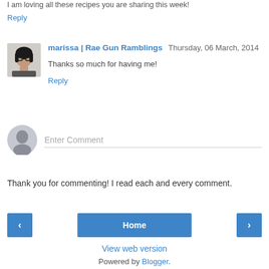I am loving all these recipes you are sharing this week!
Reply
[Figure (photo): Profile photo of marissa, a person with dark hair and glasses]
marissa | Rae Gun Ramblings   Thursday, 06 March, 2014
Thanks so much for having me!
Reply
[Figure (illustration): Generic grey user avatar circle icon for comment input]
Enter Comment
Thank you for commenting! I read each and every comment.
‹
Home
›
View web version
Powered by Blogger.